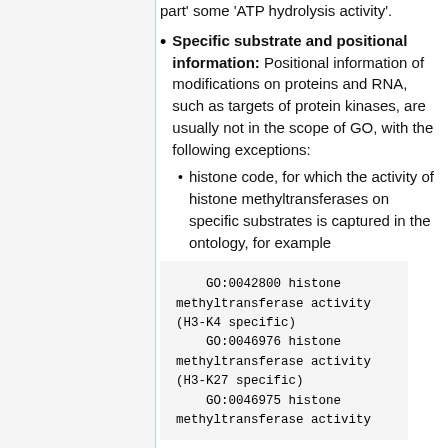part' some 'ATP hydrolysis activity'.
Specific substrate and positional information: Positional information of modifications on proteins and RNA, such as targets of protein kinases, are usually not in the scope of GO, with the following exceptions:
histone code, for which the activity of histone methyltransferases on specific substrates is captured in the ontology, for example
GO:0042800 histone methyltransferase activity (H3-K4 specific)
    GO:0046976 histone methyltransferase activity (H3-K27 specific)
    GO:0046975 histone methyltransferase activity